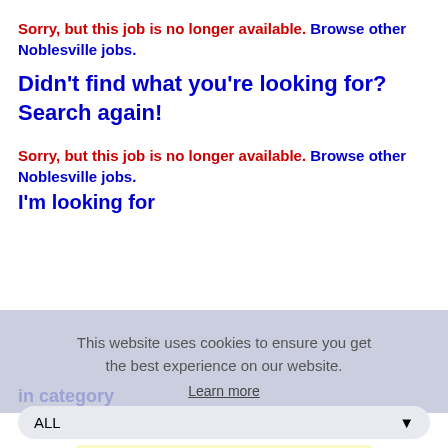Sorry, but this job is no longer available. Browse other Noblesville jobs.
Didn't find what you're looking for? Search again!
Sorry, but this job is no longer available. Browse other Noblesville jobs.
I'm looking for
This website uses cookies to ensure you get the best experience on our website.
Learn more
in category
ALL
Got it!
within
100 Miles of Noblesville